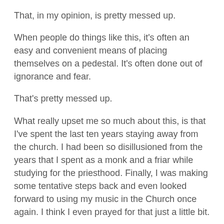That, in my opinion, is pretty messed up.
When people do things like this, it's often an easy and convenient means of placing themselves on a pedestal. It's often done out of ignorance and fear.
That's pretty messed up.
What really upset me so much about this, is that I've spent the last ten years staying away from the church. I had been so disillusioned from the years that I spent as a monk and a friar while studying for the priesthood. Finally, I was making some tentative steps back and even looked forward to using my music in the Church once again. I think I even prayed for that just a little bit.
Then, there was that notice and the message it conveyed. A notice from a church whose mission is supposed to be one of healing and reconciliation, yet it was so disaffected and destructive.